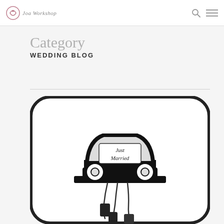Joa Workshop
Category
WEDDING BLOG
[Figure (illustration): Black and white illustration of a 'Just Married' car sign with cans trailing behind, inside a rounded rectangle border. The car is shown from the front with 'Just Married' written on the windshield.]